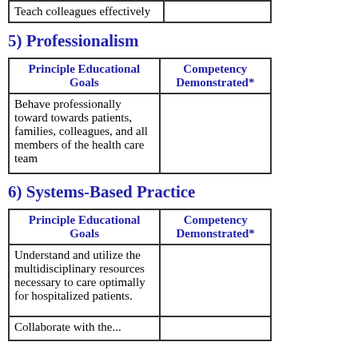| Teach colleagues effectively |  |
5) Professionalism
| Principle Educational Goals | Competency Demonstrated* |
| --- | --- |
| Behave professionally toward towards patients, families, colleagues, and all members of the health care team |  |
6) Systems-Based Practice
| Principle Educational Goals | Competency Demonstrated* |
| --- | --- |
| Understand and utilize the multidisciplinary resources necessary to care optimally for hospitalized patients. |  |
| Collaborate with the... |  |